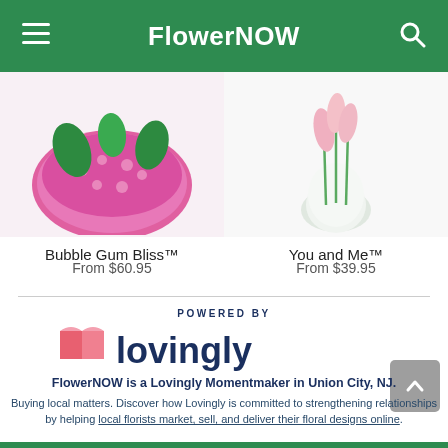FlowerNOW
[Figure (photo): Partial view of Bubble Gum Bliss floral arrangement in pink container with strawberry-like texture]
Bubble Gum Bliss™
From $60.95
[Figure (photo): Partial view of You and Me floral arrangement with pink tulips in a round white vase]
You and Me™
From $39.95
POWERED BY
[Figure (logo): Lovingly logo with pink heart/book icon and dark navy text]
FlowerNOW is a Lovingly Momentmaker in Union City, NJ.
Buying local matters. Discover how Lovingly is committed to strengthening relationships by helping local florists market, sell, and deliver their floral designs online.